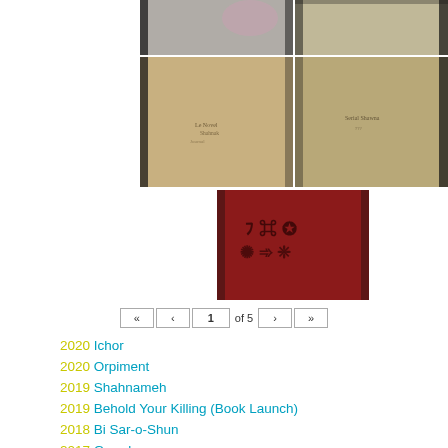[Figure (photo): Grid of photographs: top row two images of aged documents/book covers with white/stained surfaces; middle row two images of worn beige/brown book covers with faded text; bottom centered image of a red textured book cover with dark embossed script]
« ‹ 1 of 5 › »
2020 Ichor
2020 Orpiment
2019 Shahnameh
2019 Behold Your Killing (Book Launch)
2018 Bi Sar-o-Shun
2017 Greedy
2017 Decay, Chapter Two: Rend